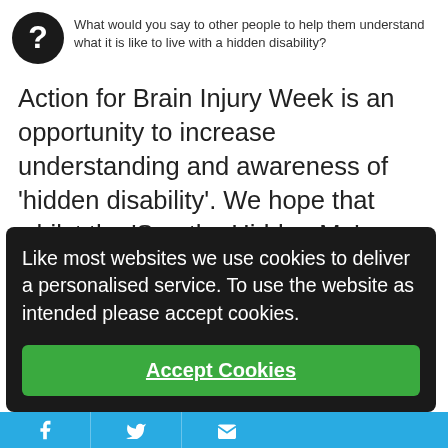[Figure (other): Black circle with white question mark icon]
What would you say to other people to help them understand what it is like to live with a hidden disability?
Action for Brain Injury Week is an opportunity to increase understanding and awareness of 'hidden disability'.  We hope that whilst the 'See the Hidden Me' campaign will raise awareness, it will also help you to feel better understood and heard.
You can keep up to date with the 'See the Hidden Me' campaign on our social media
Like most websites we use cookies to deliver a personalised service. To use the website as intended please accept cookies.
Accept Cookies